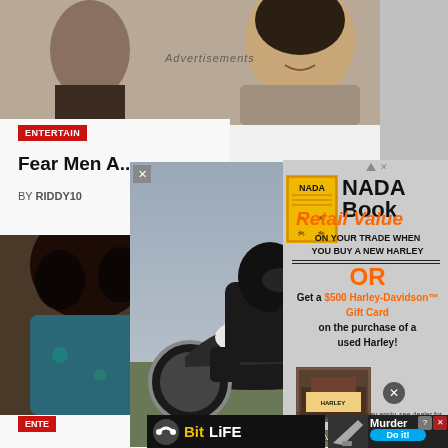[Figure (screenshot): Webpage screenshot showing a news/entertainment site with overlapping advertisements. Top area shows a smiling woman photo. Main article teaser reads 'Fear Men A...' by RIDDY10. Two popup ads are visible: a Harley-Davidson/John Elway ad showing a motorcycle rider with NADA Book Retail Value offer and $500 Gift Card promotion, and bottom ads for BitLife and a 'Murder - Do it!' game.]
Advertisements
ENTERTAIN
Fear Men A...
BY RIDDY10
ENTE
NADA Book
Retail Value
ON YOUR TRADE WHEN YOU BUY A NEW HARLEY
OR
Get a $500 Harley-Davidson™ Gift Card on the purchase of a used Harley!
Terms and conditions may apply. see dealer for details
JOHN ELWAY
HARLEY-DAVIDSON
BitLife
Murder
Do it!